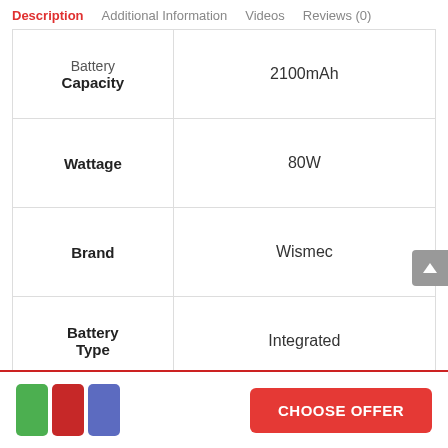Description  Additional Information  Videos  Reviews (0)
| Attribute | Value |
| --- | --- |
| Battery Capacity | 2100mAh |
| Wattage | 80W |
| Brand | Wismec |
| Battery Type | Integrated |